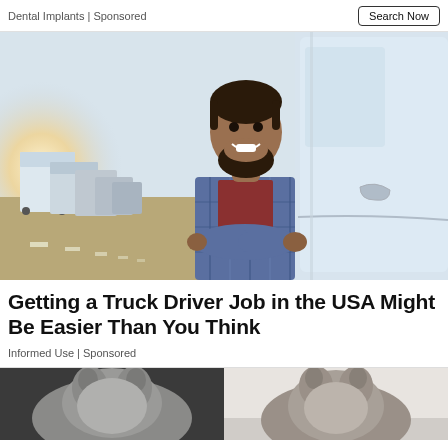Dental Implants | Sponsored
[Figure (photo): A smiling bearded man with arms crossed standing in front of a large white semi-truck cab, with a row of white trucks visible in the background on the left side]
Getting a Truck Driver Job in the USA Might Be Easier Than You Think
Informed Use | Sponsored
[Figure (photo): Two partial images at the bottom: left shows a grey fluffy cat or animal on a dark background, right shows a grey cat on a light background]